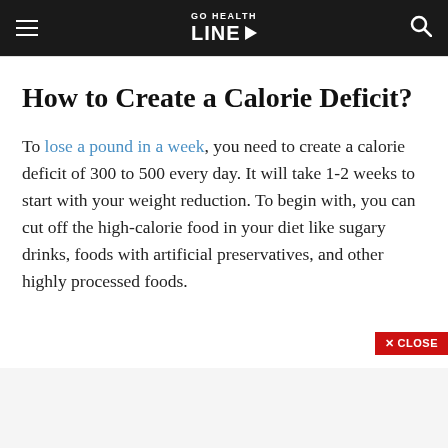GO HEALTH LINE
How to Create a Calorie Deficit?
To lose a pound in a week, you need to create a calorie deficit of 300 to 500 every day. It will take 1-2 weeks to start with your weight reduction. To begin with, you can cut off the high-calorie food in your diet like sugary drinks, foods with artificial preservatives, and other highly processed foods.